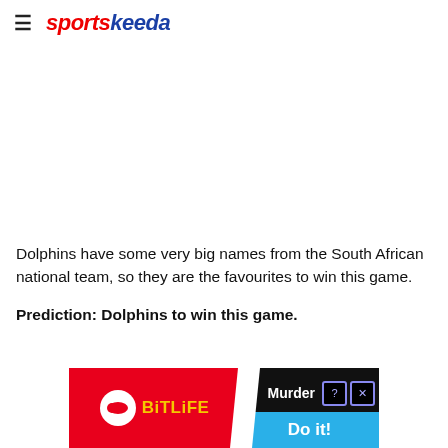sportskeeda
[Figure (other): White blank space / image placeholder]
Dolphins have some very big names from the South African national team, so they are the favourites to win this game.
Prediction: Dolphins to win this game.
[Figure (other): Advertisement banner for BitLife game: red left section with BitLife logo and yellow text, black right section with 'Murder' text and blue 'Do it!' button, with close and help icons]